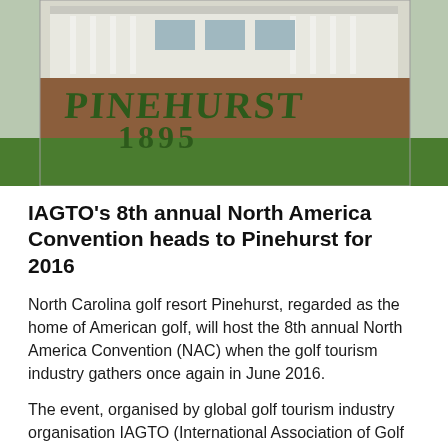[Figure (photo): Photo of the Pinehurst resort sign made of large hedge topiary letters spelling 'PINEHURST 1895' with a grand white clubhouse building visible in the background.]
IAGTO's 8th annual North America Convention heads to Pinehurst for 2016
North Carolina golf resort Pinehurst, regarded as the home of American golf, will host the 8th annual North America Convention (NAC) when the golf tourism industry gathers once again in June 2016.
The event, organised by global golf tourism industry organisation IAGTO (International Association of Golf Tour Operators), will take place